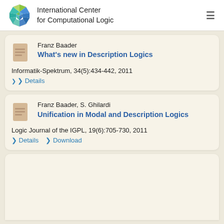International Center for Computational Logic
Franz Baader
What's new in Description Logics
Informatik-Spektrum, 34(5):434-442, 2011
> Details
Franz Baader, S. Ghilardi
Unification in Modal and Description Logics
Logic Journal of the IGPL, 19(6):705-730, 2011
> Details  > Download